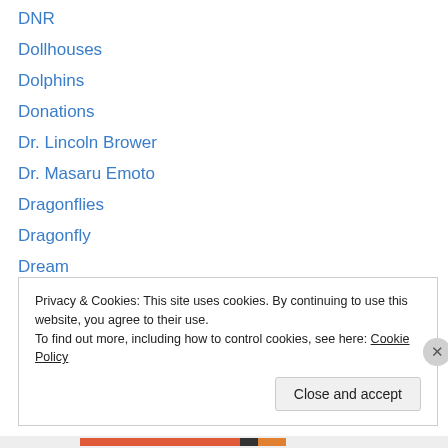DNR
Dollhouses
Dolphins
Donations
Dr. Lincoln Brower
Dr. Masaru Emoto
Dragonflies
Dragonfly
Dream
Drip irrigation system
Drought Wisconsin
Drug Wars
Drum Circle
Privacy & Cookies: This site uses cookies. By continuing to use this website, you agree to their use.
To find out more, including how to control cookies, see here: Cookie Policy
Close and accept